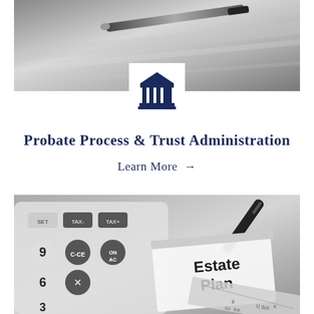[Figure (photo): Black and white photo of a pen or writing instrument on a reflective surface, close-up view]
[Figure (illustration): Dark navy blue courthouse/bank building icon with columns and triangular roof]
Probate Process & Trust Administration
Learn More →
[Figure (photo): Black and white photo of a calculator, pen, and a folder tab labeled 'Estate Plan' with a ruler]